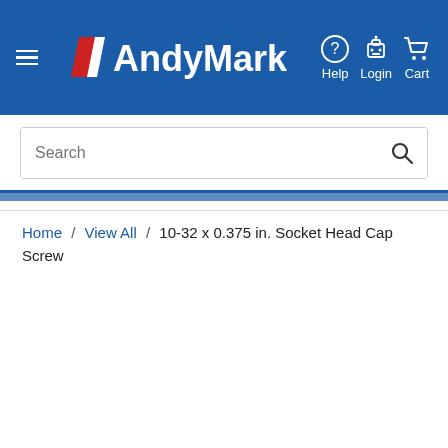[Figure (logo): AndyMark logo with navigation: hamburger menu, AndyMark logo, Help, Login, Cart icons]
Search
Home / View All / 10-32 x 0.375 in. Socket Head Cap Screw